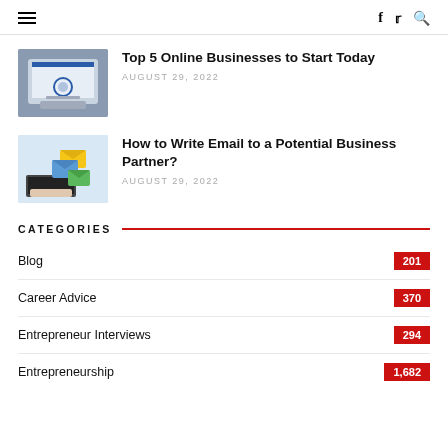≡  f  🐦  🔍
[Figure (photo): Laptop on a couch showing a dashboard/analytics screen]
Top 5 Online Businesses to Start Today
AUGUST 29, 2022
[Figure (photo): Hands typing on a laptop with colorful envelope icons]
How to Write Email to a Potential Business Partner?
AUGUST 29, 2022
CATEGORIES
Blog  201
Career Advice  370
Entrepreneur Interviews  294
Entrepreneurship  1,682